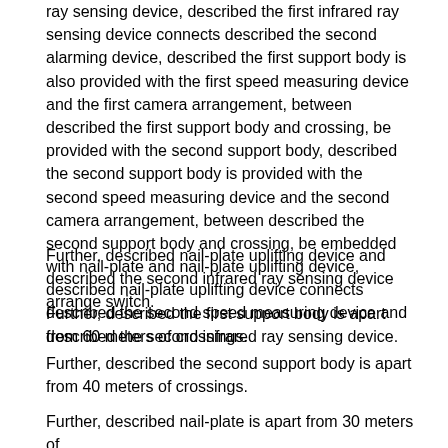ray sensing device, described the first infrared ray sensing device connects described the second alarming device, described the first support body is also provided with the first speed measuring device and the first camera arrangement, between described the first support body and crossing, be provided with the second support body, described the second support body is provided with the second speed measuring device and the second camera arrangement, between described the second support body and crossing, be embedded with nail-plate and nail-plate uplifting device, described nail-plate uplifting device connects described the second speed measuring device and described the second infrared ray sensing device.
Further, described nail-plate uplifting device and described the second infrared ray sensing device arrange switch.
Further, described the first support body is apart from 60 meters of crossings.
Further, described the second support body is apart from 40 meters of crossings.
Further, described nail-plate is apart from 30 meters of